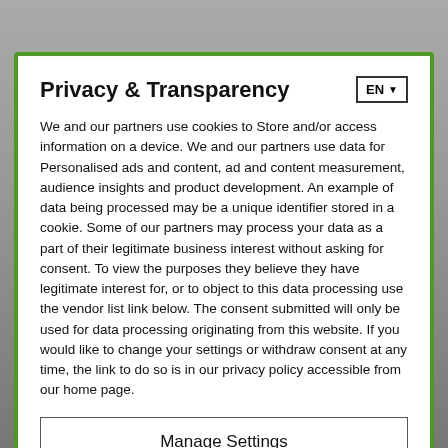Privacy & Transparency
We and our partners use cookies to Store and/or access information on a device. We and our partners use data for Personalised ads and content, ad and content measurement, audience insights and product development. An example of data being processed may be a unique identifier stored in a cookie. Some of our partners may process your data as a part of their legitimate business interest without asking for consent. To view the purposes they believe they have legitimate interest for, or to object to this data processing use the vendor list link below. The consent submitted will only be used for data processing originating from this website. If you would like to change your settings or withdraw consent at any time, the link to do so is in our privacy policy accessible from our home page.
[Figure (screenshot): Video overlay showing 'No compatible source was found for this media.' message with a close button and media player icon]
Manage Settings
Continue with Recommended Cookies
Vendor List | Privacy Policy